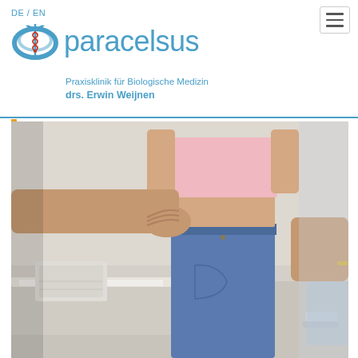DE / EN
[Figure (logo): Paracelsus clinic logo with caduceus symbol and blue circular design]
paracelsus
Praxisklinik für Biologische Medizin
drs. Erwin Weijnen
[Figure (photo): A medical professional examining a patient's lower back. The patient is a woman wearing a pink top and blue jeans, standing with arms raised. The doctor's hands are placed on her lower back/hip area. A medical examination table with white covering is visible in the background.]